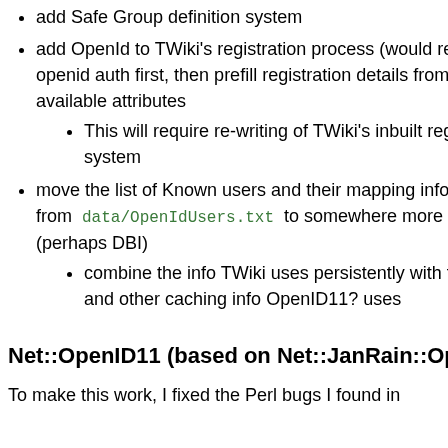add Safe Group definition system
add OpenId to TWiki's registration process (would require openid auth first, then prefill registration details from any available attributes
This will require re-writing of TWiki's inbuilt registration system
move the list of Known users and their mapping information from data/OpenIdUsers.txt to somewhere more scalable (perhaps DBI)
combine the info TWiki uses persistently with the Session and other caching info OpenID11? uses
Net::OpenID11 (based on Net::JanRain::OpenI
To make this work, I fixed the Perl bugs I found in